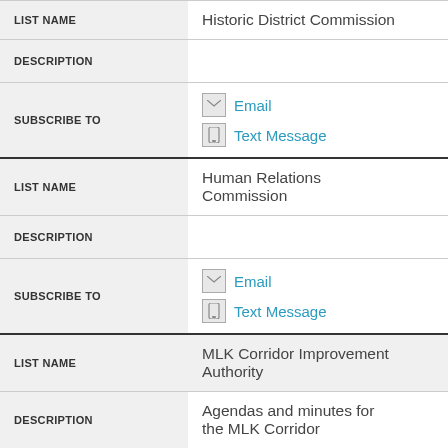| Field | Value |
| --- | --- |
| LIST NAME | Historic District Commission |
| DESCRIPTION |  |
| SUBSCRIBE TO | Email | Text Message |
| LIST NAME | Human Relations Commission |
| DESCRIPTION |  |
| SUBSCRIBE TO | Email | Text Message |
| LIST NAME | MLK Corridor Improvement Authority |
| DESCRIPTION | Agendas and minutes for the MLK Corridor |